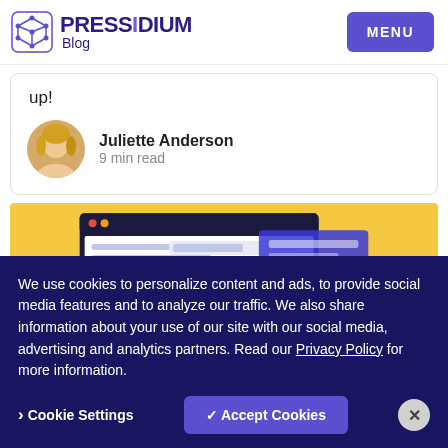PRESSIDIUM Blog | MENU
up!
Juliette Anderson
9 min read
[Figure (screenshot): Yellow background with browser window mockup showing a CMS or blog interface with navy and blue UI elements]
We use cookies to personalize content and ads, to provide social media features and to analyze our traffic. We also share information about your use of our site with our social media, advertising and analytics partners. Read our Privacy Policy for more information.
› Cookie Settings   ✓ Accept Cookies   ✕